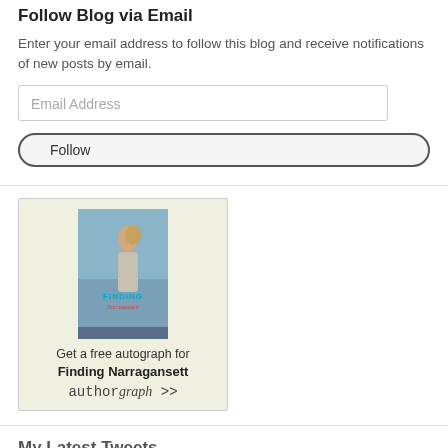Follow Blog via Email
Enter your email address to follow this blog and receive notifications of new posts by email.
[Figure (other): Email address input field with placeholder text 'Email Address']
[Figure (other): Follow button with rounded border]
[Figure (other): Authorgraph widget with book cover for 'Finding Narragansett', text 'Get a free autograph for Finding Narragansett authorgraph >>']
My Latest Tweets